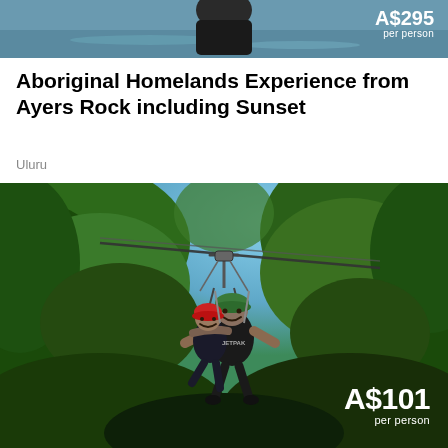[Figure (photo): Partial top image showing water/lake background with a person (partially cropped), with price overlay showing 'A$295 per person' (partially visible as top is cropped)]
per person
Aboriginal Homelands Experience from Ayers Rock including Sunset
Uluru
[Figure (photo): Two people on a zipline through lush green rainforest. One person wearing a red helmet is being carried by another person wearing a green helmet and dark t-shirt. They are suspended by zipline equipment against a blue sky with green trees. Price overlay shows A$101 per person.]
A$101
per person